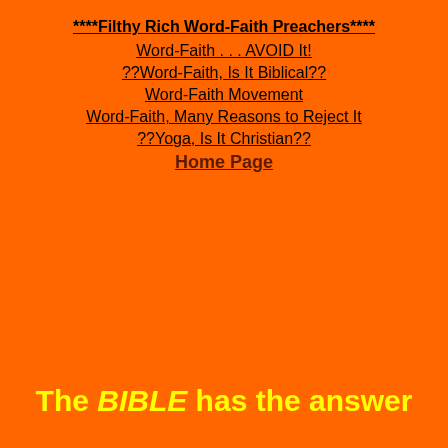****Filthy Rich Word-Faith Preachers****
Word-Faith . . . AVOID It!
??Word-Faith, Is It Biblical??
Word-Faith Movement
Word-Faith, Many Reasons to Reject It
??Yoga, Is It Christian??
Home Page
The BIBLE has the answer